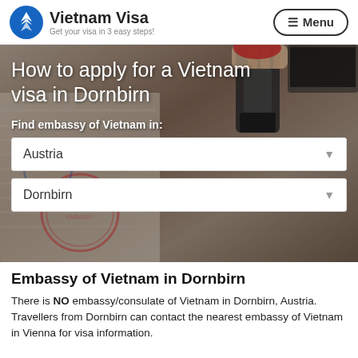Vietnam Visa — Get your visa in 3 easy steps!
[Figure (photo): Hero banner showing hands stamping a passport with visa stamps, overlaid with title text and dropdown selectors for finding Vietnam embassy]
How to apply for a Vietnam visa in Dornbirn
Find embassy of Vietnam in:
Embassy of Vietnam in Dornbirn
There is NO embassy/consulate of Vietnam in Dornbirn, Austria. Travellers from Dornbirn can contact the nearest embassy of Vietnam in Vienna for visa information.